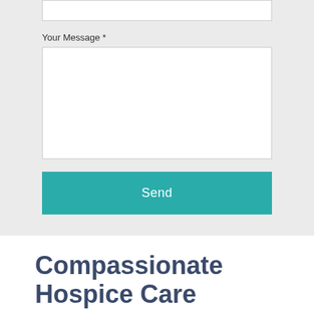Your Message *
[Figure (screenshot): A web form with a label 'Your Message *', a large textarea input box, and a teal 'Send' button below.]
Compassionate Hospice Care
Kindred Hospice – Arlington Heights is committed to clinical excellence while providing comfort and dignity to both the